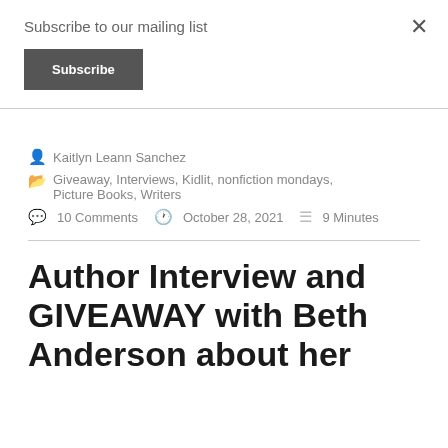Subscribe to our mailing list
Subscribe
Kaitlyn Leann Sanchez
Giveaway, Interviews, Kidlit, nonfiction mondays, Picture Books, Writers
10 Comments   October 28, 2021   9 Minutes
Author Interview and GIVEAWAY with Beth Anderson about her